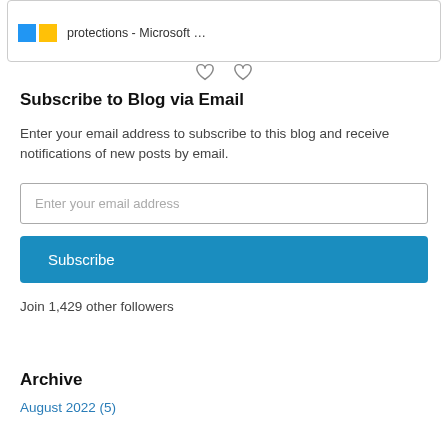[Figure (screenshot): Top portion of a social media card showing Microsoft branding (blue and yellow squares) and text 'protections - Microsoft ...' with heart/like icons below]
Subscribe to Blog via Email
Enter your email address to subscribe to this blog and receive notifications of new posts by email.
Enter your email address
Subscribe
Join 1,429 other followers
Archive
August 2022 (5)